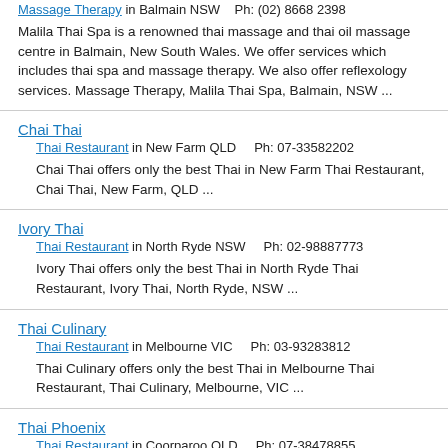Massage Therapy in Balmain NSW   Ph: (02) 8668 2398
Malila Thai Spa is a renowned thai massage and thai oil massage centre in Balmain, New South Wales. We offer services which includes thai spa and massage therapy. We also offer reflexology services. Massage Therapy, Malila Thai Spa, Balmain, NSW ...
Chai Thai
Thai Restaurant in New Farm QLD    Ph: 07-33582202
Chai Thai offers only the best Thai in New Farm Thai Restaurant, Chai Thai, New Farm, QLD ...
Ivory Thai
Thai Restaurant in North Ryde NSW    Ph: 02-98887773
Ivory Thai offers only the best Thai in North Ryde Thai Restaurant, Ivory Thai, North Ryde, NSW ...
Thai Culinary
Thai Restaurant in Melbourne VIC    Ph: 03-93283812
Thai Culinary offers only the best Thai in Melbourne Thai Restaurant, Thai Culinary, Melbourne, VIC ...
Thai Phoenix
Thai Restaurant in Coorparoo QLD    Ph: 07-38478855